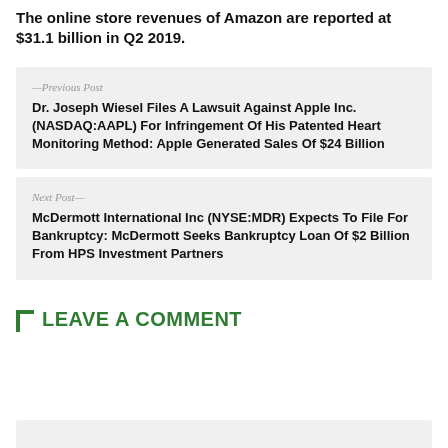The online store revenues of Amazon are reported at $31.1 billion in Q2 2019.
—Previous Post
Dr. Joseph Wiesel Files A Lawsuit Against Apple Inc. (NASDAQ:AAPL) For Infringement Of His Patented Heart Monitoring Method: Apple Generated Sales Of $24 Billion
Next Post—
McDermott International Inc (NYSE:MDR) Expects To File For Bankruptcy: McDermott Seeks Bankruptcy Loan Of $2 Billion From HPS Investment Partners
LEAVE A COMMENT